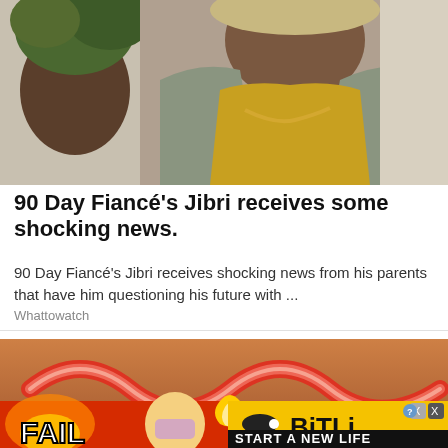[Figure (photo): Photo of a person wearing a denim vest over a yellow top with a gold chain necklace, with a plant in the background]
90 Day Fiancé's Jibri receives some shocking news.
90 Day Fiancé's Jibri receives shocking news from his parents that have him questioning his future with ...
Whattowatch
[Figure (photo): Advertisement image showing red ribbon-like candy shapes on a wooden surface, with a BitLife game banner below reading FAIL and START A NEW LIFE]